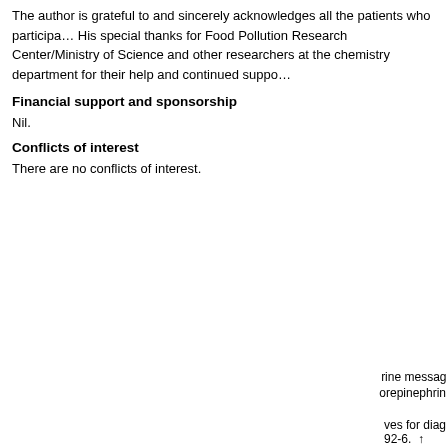The author is grateful to and sincerely acknowledges all the patients who participated. His special thanks for Food Pollution Research Center/Ministry of Science and other researchers at the chemistry department for their help and continued support.
Financial support and sponsorship
Nil.
Conflicts of interest
There are no conflicts of interest.
[Figure (screenshot): Cookie consent overlay dialog with text: 'This website uses cookies. By continuing to use this website you are giving consent to cookies being used. For information on cookies and how you can disable them visit our Privacy and Cookie Policy.' and an AGREE & PROCEED button.]
rine message norepinephrin
ves for diag 92-6. ↑